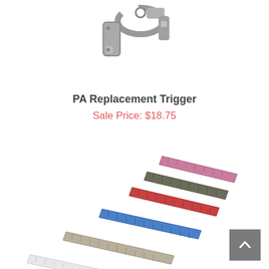[Figure (photo): Gray metal PA Replacement Trigger component viewed at an angle, showing clip-like bracket shape]
PA Replacement Trigger
Sale Price: $18.75
[Figure (photo): Stack of colored rail covers/ladder panels fanned out showing pink/purple, olive, red, blue, white/clear, and two shades of dark gray, arranged diagonally]
[Figure (other): Back-to-top navigation button (gray square with upward chevron arrow)]